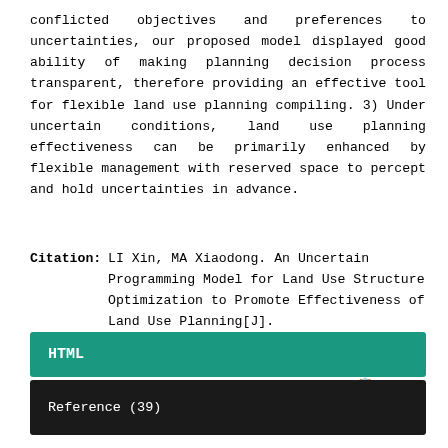conflicted objectives and preferences to uncertainties, our proposed model displayed good ability of making planning decision process transparent, therefore providing an effective tool for flexible land use planning compiling. 3) Under uncertain conditions, land use planning effectiveness can be primarily enhanced by flexible management with reserved space to percept and hold uncertainties in advance.
Citation: LI Xin, MA Xiaodong. An Uncertain Programming Model for Land Use Structure Optimization to Promote Effectiveness of Land Use Planning[J]. Chinese Geographical Science, 2017, 27(6): 974-988. doi: 10.1007/s11769-017-0896-4
HTML
Reference (39)